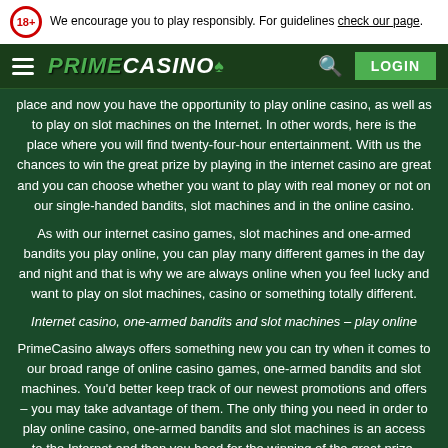We encourage you to play responsibly. For guidelines check our page.
[Figure (logo): Prime Casino navigation bar with hamburger menu, PRIMECASINO logo, search icon and LOGIN button]
place and now you have the opportunity to play online casino, as well as to play on slot machines on the Internet. In other words, here is the place where you will find twenty-four-hour entertainment. With us the chances to win the great prize by playing in the internet casino are great and you can choose whether you want to play with real money or not on our single-handed bandits, slot machines and in the online casino.
As with our internet casino games, slot machines and one-armed bandits you play online, you can play many different games in the day and night and that is why we are always online when you feel lucky and want to play on slot machines, casino or something totally different.
Internet casino, one-armed bandits and slot machines – play online
PrimeCasino always offers something new you can try when it comes to our broad range of online casino games, one-armed bandits and slot machines. You'd better keep track of our newest promotions and offers – you may take advantage of them. The only thing you need in order to play online casino, one-armed bandits and slot machines is an access to the Internet and then you head for the winning of the great prize.
So, find your desire to play and let good luck be with you – maybe you are the person who will win the great prize. Increase your chances to win and play internet casino, try your luck on our one-armed bandits and have fun with our online slot machines. Register now and start today.